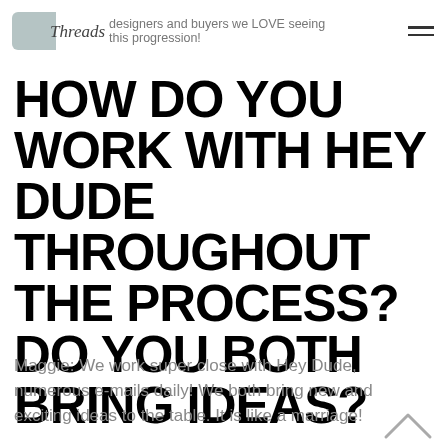designers and buyers we LOVE seeing this progression!
HOW DO YOU WORK WITH HEY DUDE THROUGHOUT THE PROCESS? DO YOU BOTH BRING IDEAS?
Maggie: We work super close with Hey Dude, numerous e-mails daily! We both bring new and exciting ideas to the table. It is like a marriage!